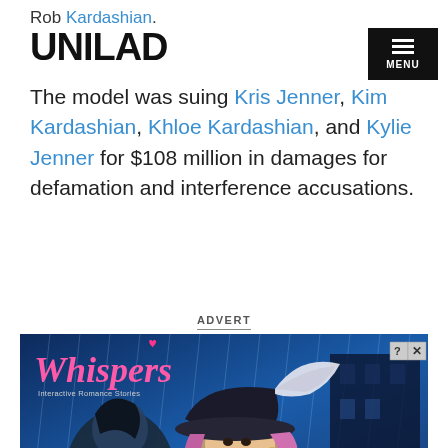Rob Kardashian.
UNILAD
The model was suing Kris Jenner, Kim Kardashian, Khloe Kardashian, and Kylie Jenner for $108 million in damages for defamation and interference accusations.
ADVERT
[Figure (illustration): Advertisement for 'Whispers: Interactive Romance Stories' mobile game showing animated romantic characters with a pirate theme against a blue rainy background.]